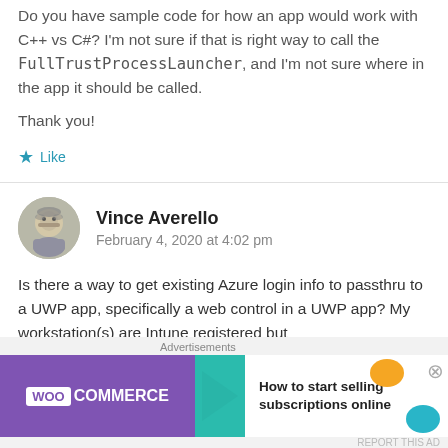Do you have sample code for how an app would work with C++ vs C#? I'm not sure if that is right way to call the FullTrustProcessLauncher, and I'm not sure where in the app it should be called.
Thank you!
Like
Vince Averello
February 4, 2020 at 4:02 pm
Is there a way to get existing Azure login info to passthru to a UWP app, specifically a web control in a UWP app? My workstation(s) are Intune registered but
[Figure (other): WooCommerce advertisement banner: purple background with WooCommerce logo and text 'How to start selling subscriptions online']